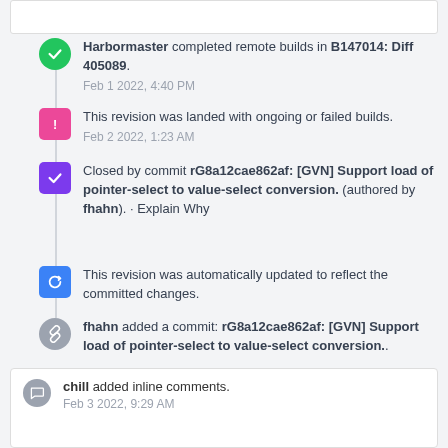Harbormaster completed remote builds in B147014: Diff 405089. Feb 1 2022, 4:40 PM
This revision was landed with ongoing or failed builds. Feb 2 2022, 1:23 AM
Closed by commit rG8a12cae862af: [GVN] Support load of pointer-select to value-select conversion. (authored by fhahn). · Explain Why
This revision was automatically updated to reflect the committed changes.
fhahn added a commit: rG8a12cae862af: [GVN] Support load of pointer-select to value-select conversion..
chill added a subscriber: chill. Feb 3 2022, 9:25 AM
chill added inline comments. Feb 3 2022, 9:29 AM